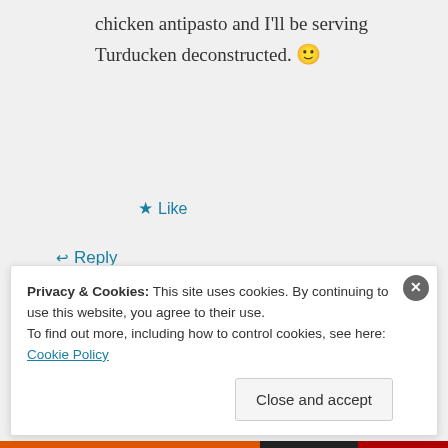chicken antipasto and I'll be serving Turducken deconstructed. 🙂
★ Like
↵ Reply
StefanGourmet on October 12, 2014 at 4:31 pm
Privacy & Cookies: This site uses cookies. By continuing to use this website, you agree to their use.
To find out more, including how to control cookies, see here: Cookie Policy